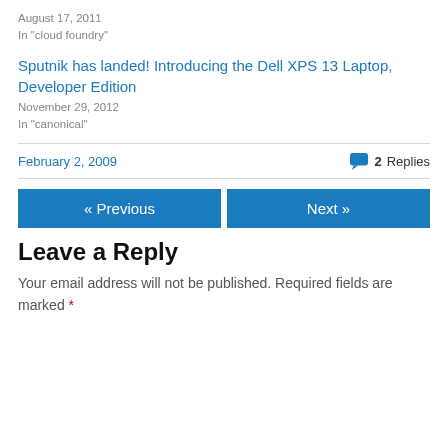August 17, 2011
In "cloud foundry"
Sputnik has landed! Introducing the Dell XPS 13 Laptop, Developer Edition
November 29, 2012
In "canonical"
February 2, 2009
2 Replies
« Previous
Next »
Leave a Reply
Your email address will not be published. Required fields are marked *